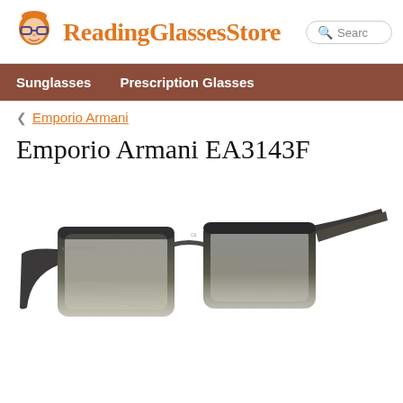ReadingGlassesStore
Sunglasses   Prescription Glasses
< Emporio Armani
Emporio Armani EA3143F
[Figure (photo): Product photo of Emporio Armani EA3143F eyeglasses frames. Dark grey/black rectangular frames with gradient fade to translucent grey at bottom. Shown in 3/4 angle view on white background.]